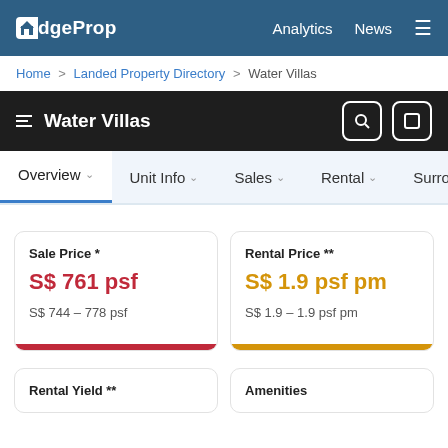EdgeProp  Analytics  News
Home > Landed Property Directory > Water Villas
Water Villas
Overview  Unit Info  Sales  Rental  Surrounding
Sale Price *
S$ 761 psf
S$ 744 – 778 psf
Rental Price **
S$ 1.9 psf pm
S$ 1.9 – 1.9 psf pm
Rental Yield **
Amenities